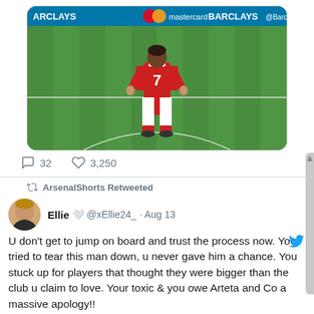[Figure (photo): A football player wearing a red Arsenal #7 jersey standing on a green pitch, viewed from behind. Barclays and Mastercard sponsor boards visible along the top.]
32   3,250
ArsenalShorts Retweeted
Ellie 🤍 @xEllie24_ · Aug 13
U don't get to jump on board and trust the process now. You tried to tear this man down, u never gave him a chance. You stuck up for players that thought they were bigger than the club u claim to love. Your toxic & you owe Arteta and Co a massive apology!!
148   4,182